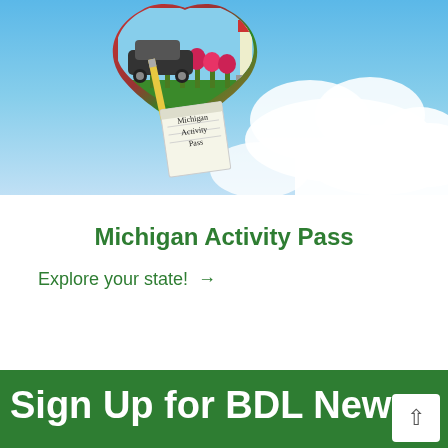[Figure (illustration): Michigan Activity Pass promotional image with a heart-shaped balloon containing colorful tulips and a classic car photo, set against a blue sky with clouds. A notepad sticker reads 'Michigan Activity Pass'.]
Michigan Activity Pass
Explore your state! →
Sign Up for BDL News